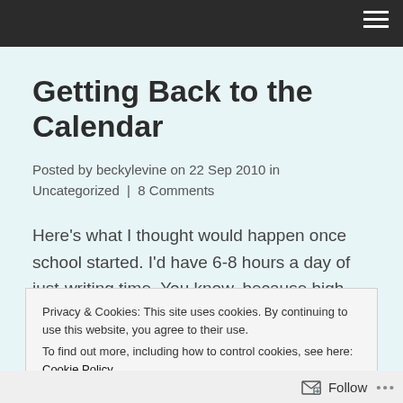Getting Back to the Calendar
Posted by beckylevine on 22 Sep 2010 in Uncategorized | 8 Comments
Here's what I thought would happen once school started. I'd have 6-8 hours a day of just-writing time. You know, because high school would be so easy and straightforward and life, with all its complications and
Privacy & Cookies: This site uses cookies. By continuing to use this website, you agree to their use.
To find out more, including how to control cookies, see here: Cookie Policy
Follow ...